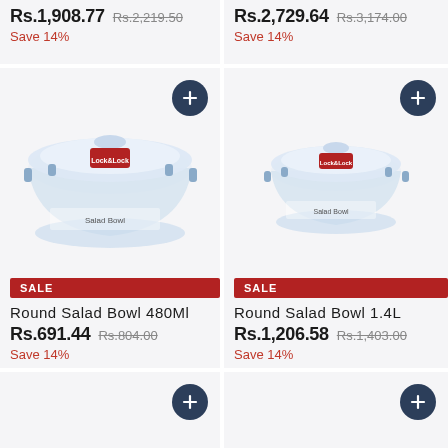Rs.1,908.77  Rs.2,219.50  Save 14%
Rs.2,729.64  Rs.3,174.00  Save 14%
[Figure (photo): Round glass salad bowl with lid, 480Ml, with SALE badge]
Round Salad Bowl 480Ml
Rs.691.44  Rs.804.00  Save 14%
[Figure (photo): Round glass salad bowl with lid, 1.4L, smaller appearance, with SALE badge]
Round Salad Bowl 1.4L
Rs.1,206.58  Rs.1,403.00  Save 14%